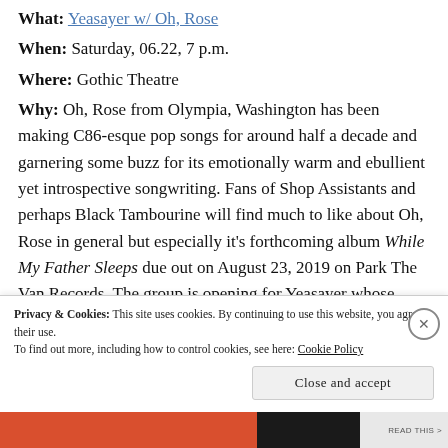What: Yeasayer w/ Oh, Rose
When: Saturday, 06.22, 7 p.m.
Where: Gothic Theatre
Why: Oh, Rose from Olympia, Washington has been making C86-esque pop songs for around half a decade and garnering some buzz for its emotionally warm and ebullient yet introspective songwriting. Fans of Shop Assistants and perhaps Black Tambourine will find much to like about Oh, Rose in general but especially it’s forthcoming album While My Father Sleeps due out on August 23, 2019 on Park The Van Records. The group is opening for Yeasayer whose genre bending sound makes
Privacy & Cookies: This site uses cookies. By continuing to use this website, you agree to their use.
To find out more, including how to control cookies, see here: Cookie Policy
Close and accept